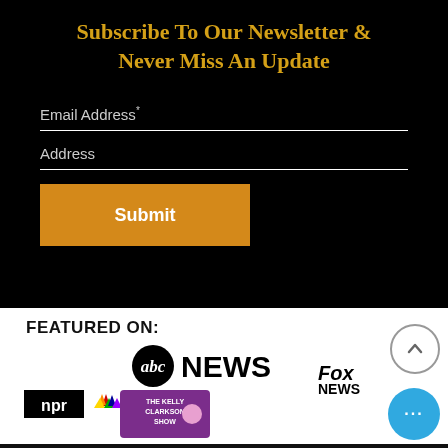Subscribe To Our Newsletter & Never Miss An Update
Email Address*
Address
Submit
FEATURED ON:
[Figure (logo): ABC News logo]
[Figure (logo): NPR logo, NBC News logo, Fox News logo, The Kelly Clarkson Show logo]